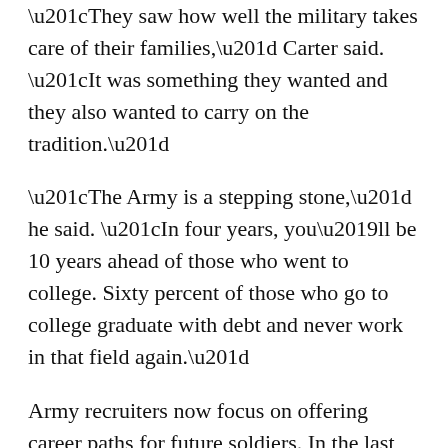“They saw how well the military takes care of their families,” Carter said. “It was something they wanted and they also wanted to carry on the tradition.”
“The Army is a stepping stone,” he said. “In four years, you’ll be 10 years ahead of those who went to college. Sixty percent of those who go to college graduate with debt and never work in that field again.”
Army recruiters now focus on offering career paths for future soldiers. In the last few years, they have stepped up their recruiting along the West Coast and in more urban markets.